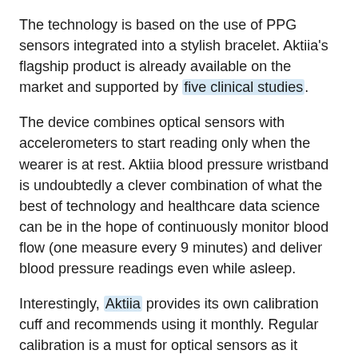The technology is based on the use of PPG sensors integrated into a stylish bracelet. Aktiia's flagship product is already available on the market and supported by five clinical studies.
The device combines optical sensors with accelerometers to start reading only when the wearer is at rest. Aktiia blood pressure wristband is undoubtedly a clever combination of what the best of technology and healthcare data science can be in the hope of continuously monitor blood flow (one measure every 9 minutes) and deliver blood pressure readings even while asleep.
Interestingly, Aktiia provides its own calibration cuff and recommends using it monthly. Regular calibration is a must for optical sensors as it ensures accuracy and clinical relevance.
NIH Funded Initiatives